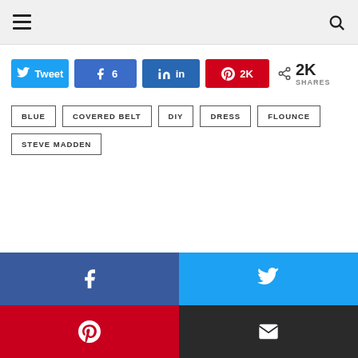Navigation bar with hamburger menu and search icon
[Figure (infographic): Social share buttons row: Tweet, Facebook (6), LinkedIn, Pinterest (2K), and total 2K SHARES count]
BLUE
COVERED BELT
DIY
DRESS
FLOUNCE
STEVE MADDEN
[Figure (infographic): Bottom social share buttons: Facebook (dark blue), Twitter (light blue), Pinterest (red), Email (black)]